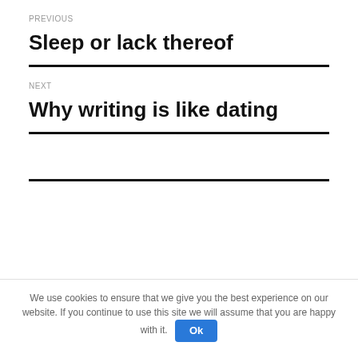PREVIOUS
Sleep or lack thereof
NEXT
Why writing is like dating
We use cookies to ensure that we give you the best experience on our website. If you continue to use this site we will assume that you are happy with it.